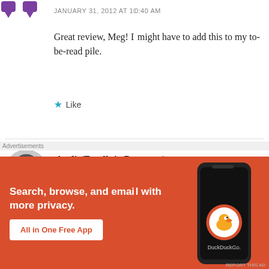[Figure (logo): Purple quote/comment icon in top left corner]
JANUARY 31, 2012 AT 10:40 AM
Great review, Meg! I might have to add this to my to-be-read pile.
★ Like
[Figure (photo): Circular avatar photo of Andi, a woman with short dark hair, black and white photo]
Andi (Estella's Revenge)
JANUARY 31, 2012 AT 11:46 AM
[Figure (infographic): DuckDuckGo advertisement banner with orange/red background. Text: Search, browse, and email with more privacy. All in One Free App. Shows a phone with DuckDuckGo app.]
Advertisements